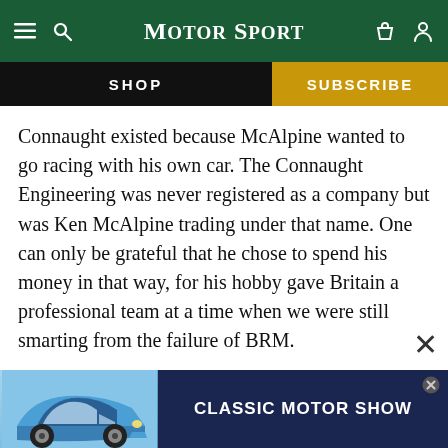Motor Sport
SHOP   SUBSCRIBE
Connaught existed because McAlpine wanted to go racing with his own car. The Connaught Engineering was never registered as a company but was Ken McAlpine trading under that name. One can only be grateful that he chose to spend his money in that way, for his hobby gave Britain a professional team at a time when we were still smarting from the failure of BRM.
It would have been possible to build a dohc version of the Lea-Francis engine and Albert Ludg... desig...
[Figure (screenshot): Classic Motor Show advertisement banner with a blue Porsche 911 car image and dark blue background with white text reading CLASSIC MOTOR SHOW]